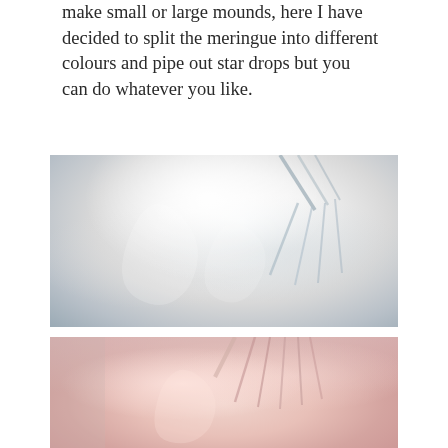make small or large mounds, here I have decided to split the meringue into different colours and pipe out star drops but you can do whatever you like.
[Figure (photo): Close-up photo of white meringue in a mixing bowl with electric beater/whisk attachments lifted up, showing stiff glossy white peaks.]
[Figure (photo): Close-up photo of pink-coloured meringue in a mixing bowl with electric beater/whisk attachments, showing the meringue after food colouring has been added.]